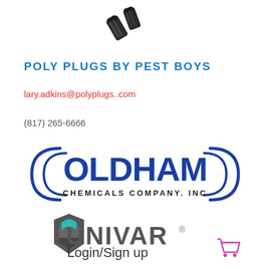[Figure (photo): Two dark poly plugs (small black cylindrical/bolt-shaped objects) photographed from above]
POLY PLUGS BY PEST BOYS
lary.adkins@polyplugs..com
(817) 265-6666
[Figure (logo): Oldham Chemicals Company, Inc logo — large bold blue letters with decorative parentheses curves on left and right]
[Figure (logo): Univar logo — teal and gray hexagonal shield icon with UNIVAR text in gray]
Login/Sign up
[Figure (other): Shopping cart icon in pink/magenta]